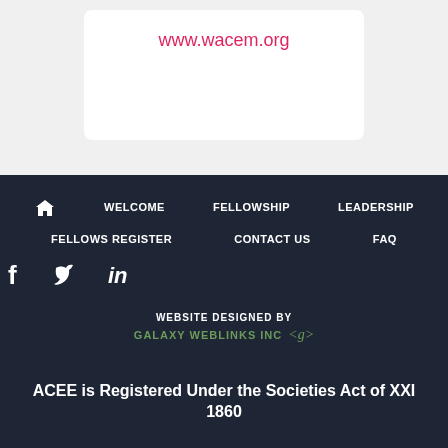www.wacem.org
WELCOME  FELLOWSHIP  LEADERSHIP  FELLOWS REGISTER  CONTACT US  FAQ
WEBSITE DESIGNED BY
GALAXY WEBLINKS INC  <g>
ACEE is Registered Under the Societies Act of XXI 1860